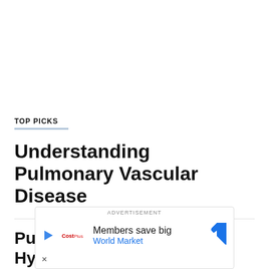TOP PICKS
Understanding Pulmonary Vascular Disease
Pulmonary Arterial Hypertension:
[Figure (other): Advertisement banner: Members save big, World Market, with play icon and navigation arrow logo]